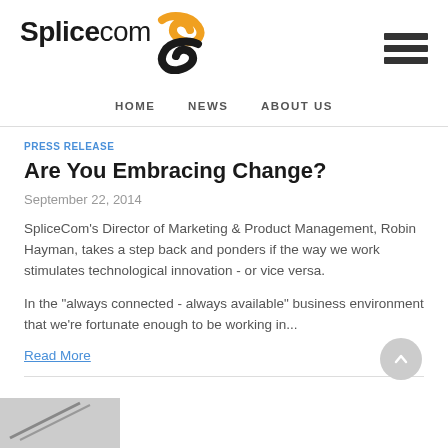[Figure (logo): SpliceCom logo with orange and black S-curve graphic]
HOME  NEWS  ABOUT US
PRESS RELEASE
Are You Embracing Change?
September 22, 2014
SpliceCom's Director of Marketing & Product Management, Robin Hayman, takes a step back and ponders if the way we work stimulates technological innovation - or vice versa.
In the "always connected - always available" business environment that we're fortunate enough to be working in...
Read More